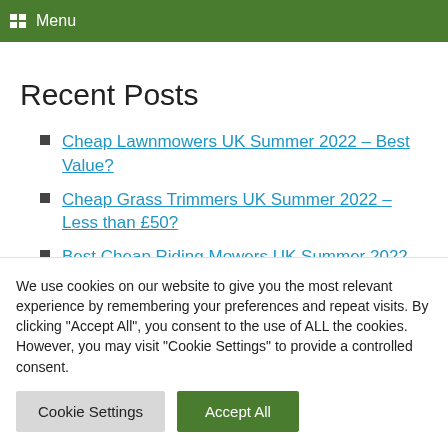Menu
Recent Posts
Cheap Lawnmowers UK Summer 2022 – Best Value?
Cheap Grass Trimmers UK Summer 2022 – Less than £50?
Best Cheap Riding Mowers UK Summer 2022 – Best Value
We use cookies on our website to give you the most relevant experience by remembering your preferences and repeat visits. By clicking "Accept All", you consent to the use of ALL the cookies. However, you may visit "Cookie Settings" to provide a controlled consent.